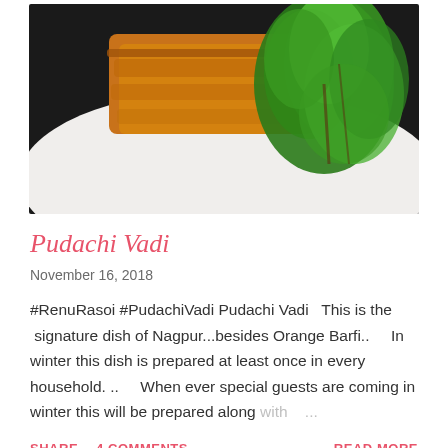[Figure (photo): Food photo showing fried/baked Pudachi Vadi (stuffed rolls) on a white plate garnished with fresh green herbs (parsley/coriander)]
Pudachi Vadi
November 16, 2018
#RenuRasoi #PudachiVadi Pudachi Vadi   This is the  signature dish of Nagpur...besides Orange Barfi..    In winter this dish is prepared at least once in every household. ..    When ever special guests are coming in winter this will be prepared along with   ...
SHARE   4 COMMENTS   READ MORE